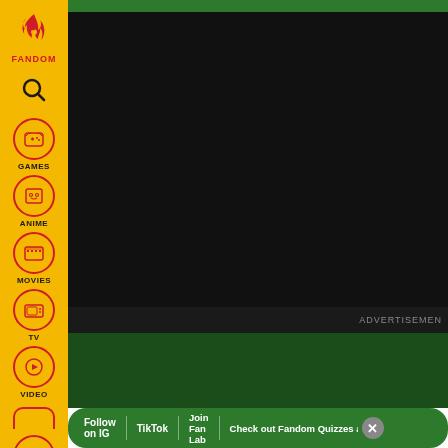[Figure (screenshot): Fandom website sidebar navigation with yellow background showing Fandom logo, search icon, and navigation items: GAMES, ANIME, MOVIES, TV, VIDEO, and profile icon]
[Figure (screenshot): Main content area with dark background, green top bar, advertisement bar, lower dark green section, and bottom navigation bar with links: Follow on IG, TikTok, Join Fan Lab, Check out Fandom Quizzes and cha]
ADVERTISEMENT
Follow on IG
TikTok
Join Fan Lab
Check out Fandom Quizzes and cha